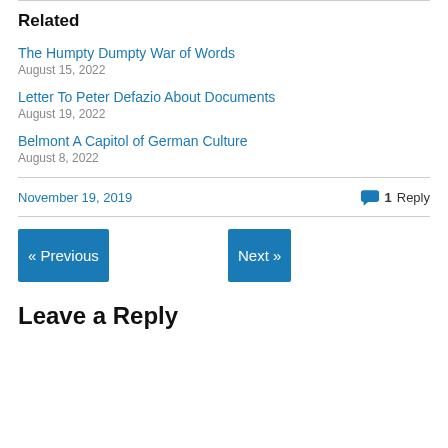Related
The Humpty Dumpty War of Words
August 15, 2022
Letter To Peter Defazio About Documents
August 19, 2022
Belmont A Capitol of German Culture
August 8, 2022
November 19, 2019
1 Reply
« Previous
Next »
Leave a Reply